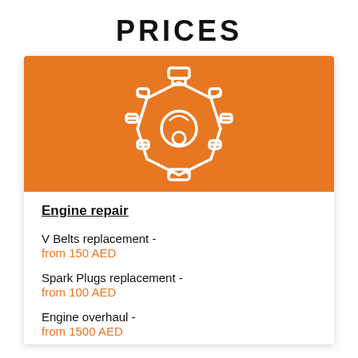PRICES
[Figure (illustration): Engine/motor icon in white on orange background, showing an engine block with spark plugs and mechanical components in outline style]
Engine repair
V Belts replacement - from 150 AED
Spark Plugs replacement - from 100 AED
Engine overhaul - from 1500 AED